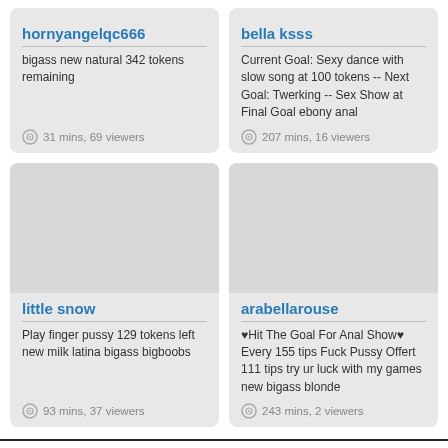hornyangelqc666
bigass new natural 342 tokens remaining
31 mins, 69 viewers
bella ksss
Current Goal: Sexy dance with slow song at 100 tokens -- Next Goal: Twerking -- Sex Show at Final Goal ebony anal
207 mins, 16 viewers
little snow
Play finger pussy 129 tokens left new milk latina bigass bigboobs
93 mins, 37 viewers
arabellarouse
♥Hit The Goal For Anal Show♥ Every 155 tips Fuck Pussy Offert 111 tips try ur luck with my games new bigass blonde
243 mins, 2 viewers
Free Cams
Featured Cams
Female Cams